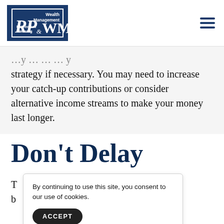[Figure (logo): RP & WM Wealth Management & Retirement Planning logo on dark blue background]
strategy if necessary. You may need to increase your catch-up contributions or consider alternative income streams to make your money last longer.
Don't Delay
T... e, b... b...
By continuing to use this site, you consent to our use of cookies.